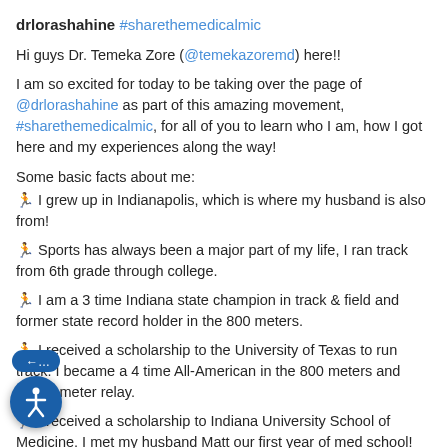drlorashahine #sharethemedicalmic
Hi guys Dr. Temeka Zore (@temekazoremd) here!!
I am so excited for today to be taking over the page of @drlorashahine as part of this amazing movement, #sharethemedicalmic, for all of you to learn who I am, how I got here and my experiences along the way!
Some basic facts about me:
🏃 I grew up in Indianapolis, which is where my husband is also from!
🏃 Sports has always been a major part of my life, I ran track from 6th grade through college.
🏃 I am a 3 time Indiana state champion in track & field and former state record holder in the 800 meters.
🏃 I received a scholarship to the University of Texas to run track. I became a 4 time All-American in the 800 meters and 4x400 meter relay.
🏃 I received a scholarship to Indiana University School of Medicine. I met my husband Matt our first year of med school!